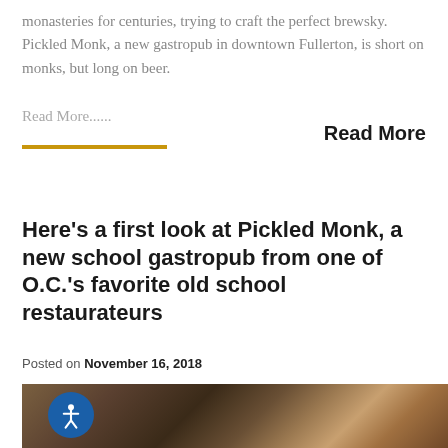monasteries for centuries, trying to craft the perfect brewsky. Pickled Monk, a new gastropub in downtown Fullerton, is short on monks, but long on beer.
Read More......
Read More
Here’s a first look at Pickled Monk, a new school gastropub from one of O.C.’s favorite old school restaurateurs
Posted on November 16, 2018
[Figure (photo): Interior photo of a bar or restaurant showing copper mugs/pitchers on a dark counter with stainless steel equipment in the background]